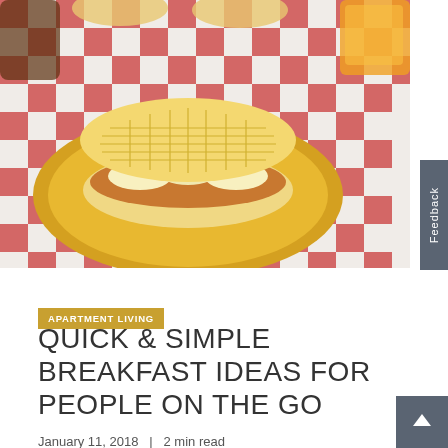[Figure (photo): Photo of a waffle sandwich with peanut butter and banana on a yellow plate, on a red and white checkered tablecloth, with orange juice in the background]
APARTMENT LIVING
QUICK & SIMPLE BREAKFAST IDEAS FOR PEOPLE ON THE GO
January 11, 2018   |   2 min read